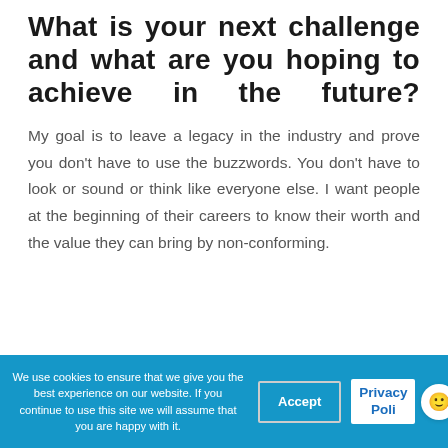What is your next challenge and what are you hoping to achieve in the future?
My goal is to leave a legacy in the industry and prove you don't have to use the buzzwords. You don't have to look or sound or think like everyone else. I want people at the beginning of their careers to know their worth and the value they can bring by non-conforming.
We use cookies to ensure that we give you the best experience on our website. If you continue to use this site we will assume that you are happy with it. Accept Privacy Poli